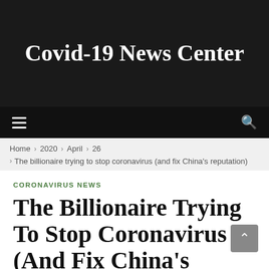Covid-19 News Center
CORONAVIRUS NEWS
The Billionaire Trying To Stop Coronavirus (And Fix China's Reputation)